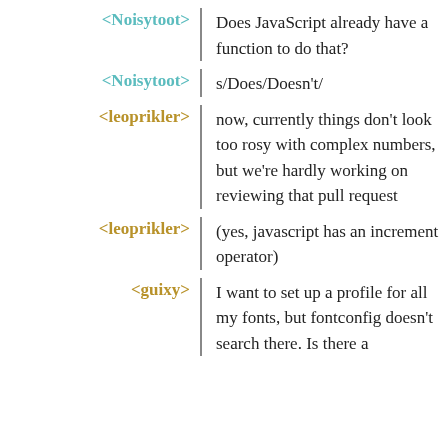<Noisytoot> Does JavaScript already have a function to do that?
<Noisytoot> s/Does/Doesn't/
<leoprikler> now, currently things don't look too rosy with complex numbers, but we're hardly working on reviewing that pull request
<leoprikler> (yes, javascript has an increment operator)
<guixy> I want to set up a profile for all my fonts, but fontconfig doesn't search there. Is there a